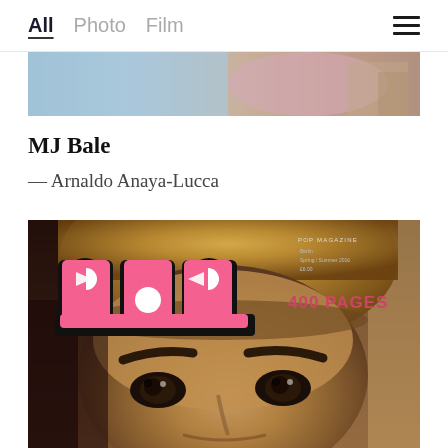All  Photo  Film
[Figure (photo): Partial view of a photo at the top of the page showing a light blue and pink background with a figure]
MJ Bale
— Arnaldo Anaya-Lucca
[Figure (photo): POP Magazine cover featuring a close-up of a person with a bowl-cut blonde hairstyle and prominent eyebrows. The POP logo in pink and white with black outline is visible in the upper left. Magazine text reads 'POP MAGAZINE' and '400 PAGES' on the right side.]